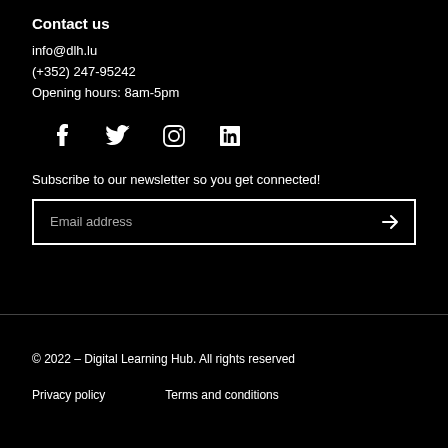Contact us
info@dlh.lu
(+352) 247-95242
Opening hours: 8am-5pm
[Figure (infographic): Social media icons: Facebook, Twitter, Instagram, LinkedIn]
Subscribe to our newsletter so you get connected!
Email address [input field with arrow button]
© 2022 – Digital Learning Hub. All rights reserved
Privacy policy    Terms and conditions